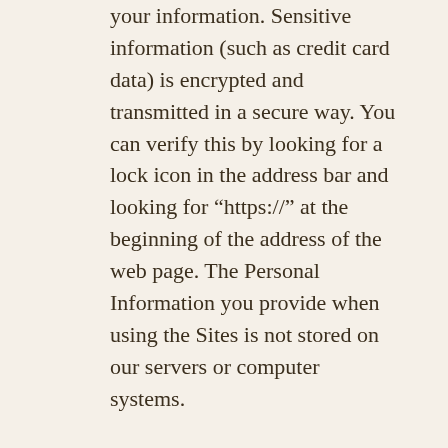your information. Sensitive information (such as credit card data) is encrypted and transmitted in a secure way. You can verify this by looking for a lock icon in the address bar and looking for “https://” at the beginning of the address of the web page. The Personal Information you provide when using the Sites is not stored on our servers or computer systems.
However, due to the open nature of the Internet we cannot guarantee that communication between you and us, and between us and you, will be free from unauthorized access by third parties. No data transmission over the Internet can be guaranteed to be 100%